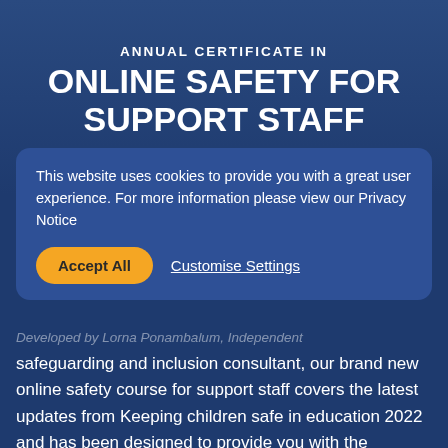ANNUAL CERTIFICATE IN ONLINE SAFETY FOR SUPPORT STAFF
ONLINE COURSE
This website uses cookies to provide you with a great user experience. For more information please view our Privacy Notice
Accept All
Customise Settings
Developed by Lorna Ponambalum, Independent safeguarding and inclusion consultant, our brand new online safety course for support staff covers the latest updates from Keeping children safe in education 2022 and has been designed to provide you with the expertise and capability to effectively carry out your role and keep children safe online.